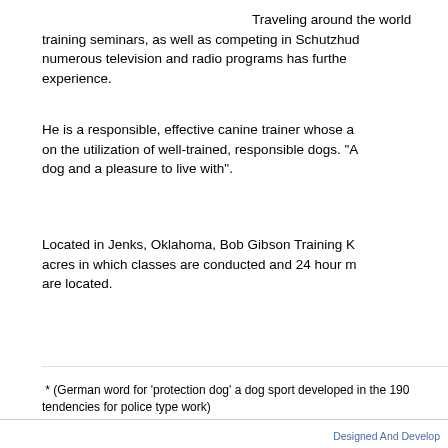Traveling around the world training seminars, as well as competing in Schutzhund numerous television and radio programs has further experience.
He is a responsible, effective canine trainer whose a on the utilization of well-trained, responsible dogs. "A dog and a pleasure to live with".
Located in Jenks, Oklahoma, Bob Gibson Training K acres in which classes are conducted and 24 hour m are located.
* (German word for ‘protection dog’ a dog sport developed in the 190 tendencies for police type work)
Designed And Develop